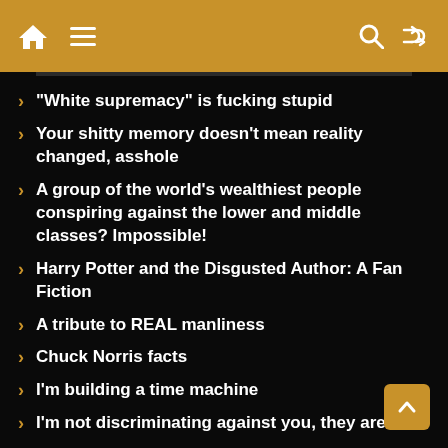Navigation header with home, menu, search, and shuffle icons
“White supremacy” is fucking stupid
Your shitty memory doesn’t mean reality changed, asshole
A group of the world’s wealthiest people conspiring against the lower and middle classes? Impossible!
Harry Potter and the Disgusted Author: A Fan Fiction
A tribute to REAL manliness
Chuck Norris facts
I’m building a time machine
I’m not discriminating against you, they are
If God exists, I refuse to worship him
Reading-ration are for assholes